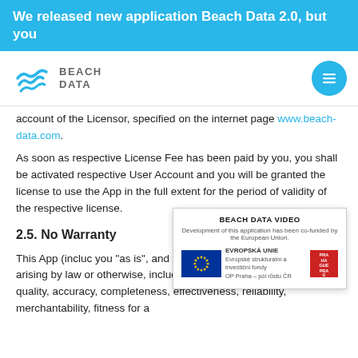We released new application Beach Data 2.0, but you
[Figure (logo): Beach Data logo with wave icon and BEACH DATA text, plus hamburger menu button]
account of the Licensor, specified on the internet page www.beach-data.com.
As soon as respective License Fee has been paid by you, you shall be activated respective User Account and you will be granted the license to use the App in the full extent for the period of validity of the respective license.
2.5. No Warranty
This App (incluc you "as is", and y Licensor makes warranties of an arising by law or otherwise, including, but not limited to, content, quality, accuracy, completeness, effectiveness, reliability, merchantability, fitness for a
[Figure (infographic): Beach Data Video popup showing EU funding notice with European Union flag, EVROPSKA UNE text, Evropske strukturalni a investicni fondy, OP Praha - pol ristu CR, and Praha Prague Praga logo]